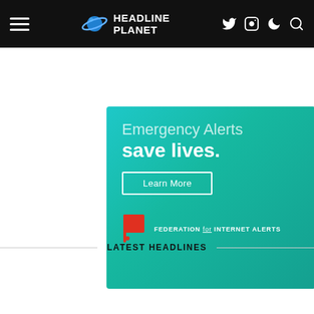HEADLINE PLANET — navigation bar with hamburger menu, logo, Twitter, Instagram, dark mode, search icons
[Figure (infographic): Emergency Alerts save lives advertisement banner. Teal/green gradient background. Text: 'Emergency Alerts save lives.' with a 'Learn More' button. Federation for Internet Alerts logo and text at bottom.]
LATEST HEADLINES
[Figure (photo): Partial photo showing a TV studio stage with green background panels, a stage light on a stand, and people visible at bottom. A dark back-to-top arrow button in bottom right corner.]